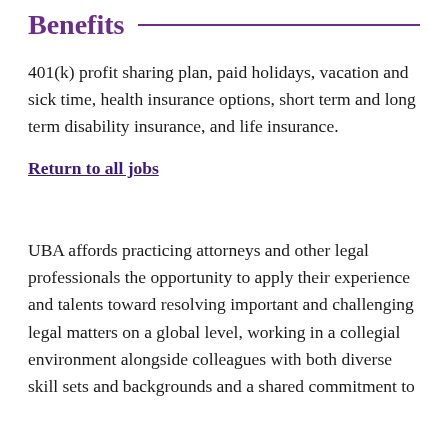Benefits
401(k) profit sharing plan, paid holidays, vacation and sick time, health insurance options, short term and long term disability insurance, and life insurance.
Return to all jobs
UBA affords practicing attorneys and other legal professionals the opportunity to apply their experience and talents toward resolving important and challenging legal matters on a global level, working in a collegial environment alongside colleagues with both diverse skill sets and backgrounds and a shared commitment to